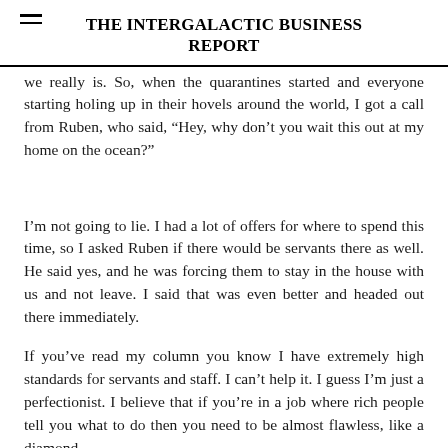THE INTERGALACTIC BUSINESS REPORT
we really is. So, when the quarantines started and everyone starting holing up in their hovels around the world, I got a call from Ruben, who said, “Hey, why don’t you wait this out at my home on the ocean?”
I’m not going to lie. I had a lot of offers for where to spend this time, so I asked Ruben if there would be servants there as well. He said yes, and he was forcing them to stay in the house with us and not leave. I said that was even better and headed out there immediately.
If you’ve read my column you know I have extremely high standards for servants and staff. I can’t help it. I guess I’m just a perfectionist. I believe that if you’re in a job where rich people tell you what to do then you need to be almost flawless, like a diamond